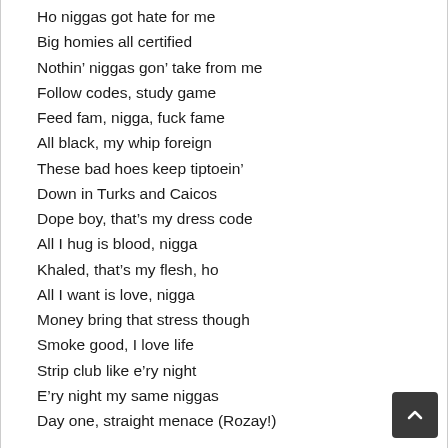Ho niggas got hate for me
Big homies all certified
Nothin' niggas gon' take from me
Follow codes, study game
Feed fam, nigga, fuck fame
All black, my whip foreign
These bad hoes keep tiptoein'
Down in Turks and Caicos
Dope boy, that's my dress code
All I hug is blood, nigga
Khaled, that's my flesh, ho
All I want is love, nigga
Money bring that stress though
Smoke good, I love life
Strip club like e'ry night
E'ry night my same niggas
Day one, straight menace (Rozay!)

[Chorus: Drake]
No new friends, no new friends
No new friends, no, no new (Huh, Maybach Music)